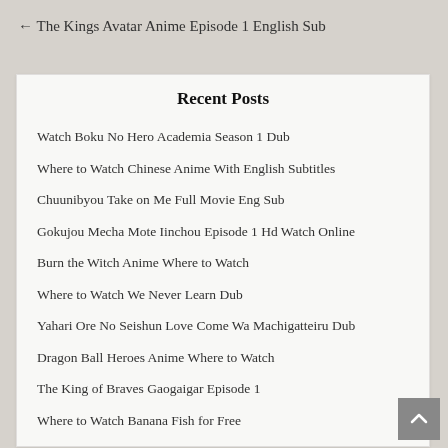← The Kings Avatar Anime Episode 1 English Sub
Recent Posts
Watch Boku No Hero Academia Season 1 Dub
Where to Watch Chinese Anime With English Subtitles
Chuunibyou Take on Me Full Movie Eng Sub
Gokujou Mecha Mote Iinchou Episode 1 Hd Watch Online
Burn the Witch Anime Where to Watch
Where to Watch We Never Learn Dub
Yahari Ore No Seishun Love Come Wa Machigatteiru Dub
Dragon Ball Heroes Anime Where to Watch
The King of Braves Gaogaigar Episode 1
Where to Watch Banana Fish for Free